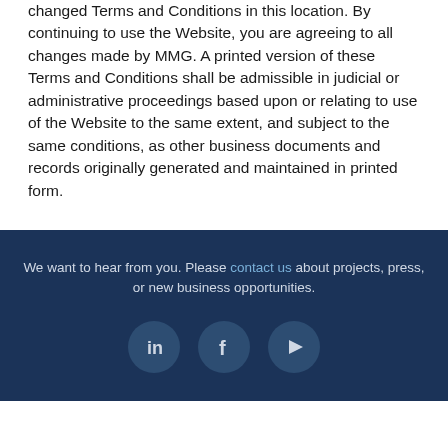changed Terms and Conditions in this location. By continuing to use the Website, you are agreeing to all changes made by MMG. A printed version of these Terms and Conditions shall be admissible in judicial or administrative proceedings based upon or relating to use of the Website to the same extent, and subject to the same conditions, as other business documents and records originally generated and maintained in printed form.
We want to hear from you. Please contact us about projects, press, or new business opportunities.
[Figure (other): Three social media icons: LinkedIn, Facebook, and YouTube, displayed as white icons on dark navy circular backgrounds.]